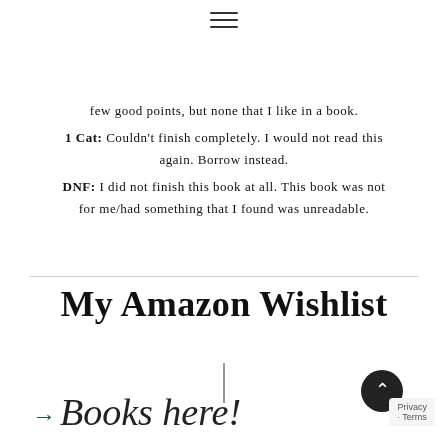≡
few good points, but none that I like in a book.
1 Cat: Couldn't finish completely. I would not read this again. Borrow instead.
DNF: I did not finish this book at all. This book was not for me/had something that I found was unreadable.
My Amazon Wishlist
[Figure (illustration): Vertical decorative line divider]
Books here!
[Figure (illustration): Green right-pointing arrow icon]
[Figure (illustration): Dark circular scroll-to-top button with upward chevron, and privacy/terms badge]